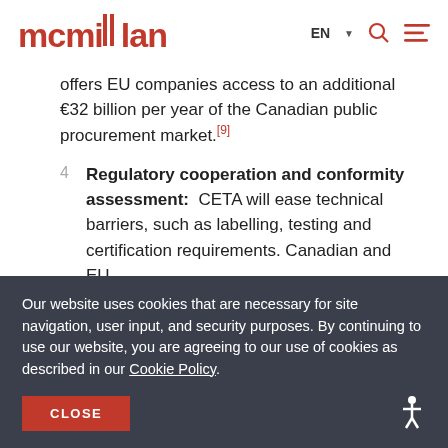mcmillan | EN
offers EU companies access to an additional €32 billion per year of the Canadian public procurement market.[9]
4  Regulatory cooperation and conformity assessment: CETA will ease technical barriers, such as labelling, testing and certification requirements. Canadian and EU
Our website uses cookies that are necessary for site navigation, user input, and security purposes. By continuing to use our website, you are agreeing to our use of cookies as described in our Cookie Policy.
CLOSE